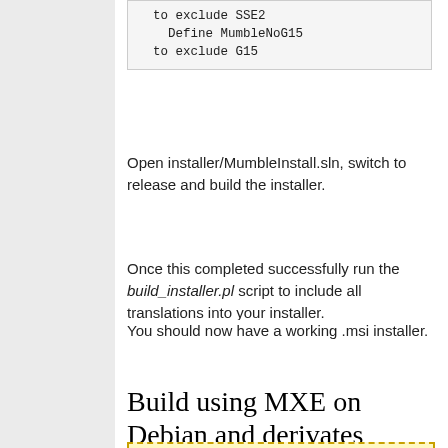to exclude SSE2
    Define MumbleNoG15
 to exclude G15
Open installer/MumbleInstall.sln, switch to release and build the installer.
Once this completed successfully run the build_installer.pl script to include all translations into your installer.
You should now have a working .msi installer.
Build using MXE on Debian and derivates
[Figure (other): Yellow dashed border box at bottom of page]